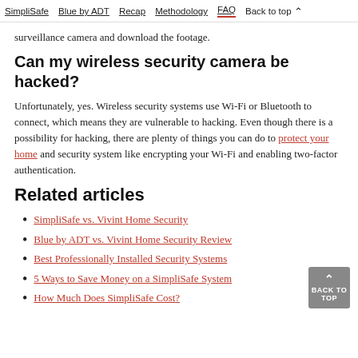SimpliSafe   Blue by ADT   Recap   Methodology   FAQ   Back to top
surveillance camera and download the footage.
Can my wireless security camera be hacked?
Unfortunately, yes. Wireless security systems use Wi-Fi or Bluetooth to connect, which means they are vulnerable to hacking. Even though there is a possibility for hacking, there are plenty of things you can do to protect your home and security system like encrypting your Wi-Fi and enabling two-factor authentication.
Related articles
SimpliSafe vs. Vivint Home Security
Blue by ADT vs. Vivint Home Security Review
Best Professionally Installed Security Systems
5 Ways to Save Money on a SimpliSafe System
How Much Does SimpliSafe Cost?